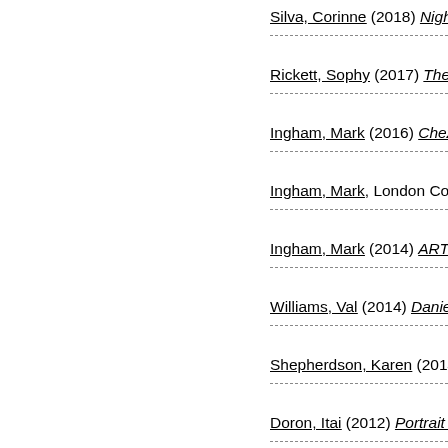Silva, Corinne (2018) Night Circuits. [truncated]
Rickett, Sophy (2017) The Curious M[truncated]
Ingham, Mark (2016) Chez L'enquête[truncated]
Ingham, Mark, London College of Co[truncated]
Ingham, Mark (2014) ART III Limits o[truncated]
Williams, Val (2014) Daniel Meadows[truncated]
Shepherdson, Karen (2014) Aftermat[truncated]
Doron, Itai (2012) Portrait of Miroslav[truncated]